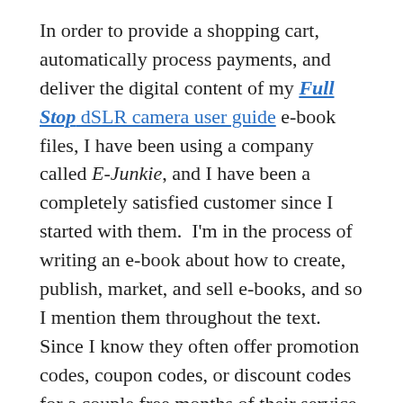In order to provide a shopping cart, automatically process payments, and deliver the digital content of my Full Stop dSLR camera user guide e-book files, I have been using a company called E-Junkie, and I have been a completely satisfied customer since I started with them.  I'm in the process of writing an e-book about how to create, publish, market, and sell e-books, and so I mention them throughout the text.  Since I know they often offer promotion codes, coupon codes, or discount codes for a couple free months of their service, I asked them if they could provide me with one, and they have!

So if you wish to sign up to try or to use E-